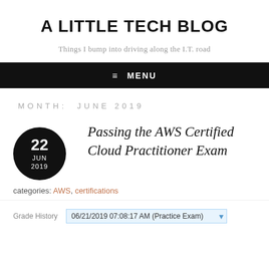A LITTLE TECH BLOG
Things I bump into driving along the I.T. road
≡ MENU
MONTH: JUNE 2019
Passing the AWS Certified Cloud Practitioner Exam
categories: AWS, certifications
Grade History   06/21/2019 07:08:17 AM (Practice Exam)